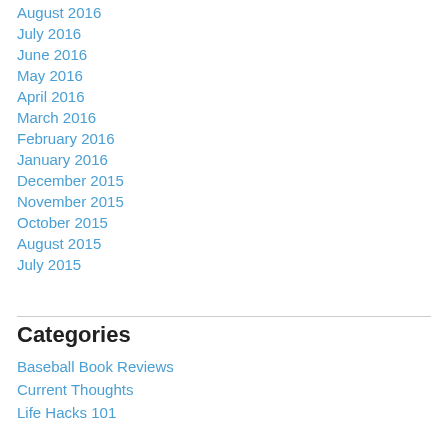August 2016
July 2016
June 2016
May 2016
April 2016
March 2016
February 2016
January 2016
December 2015
November 2015
October 2015
August 2015
July 2015
Categories
Baseball Book Reviews
Current Thoughts
Life Hacks 101